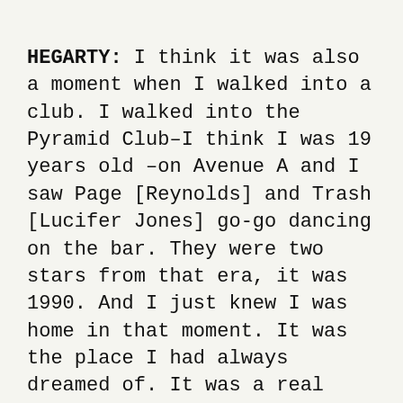HEGARTY: I think it was also a moment when I walked into a club. I walked into the Pyramid Club–I think I was 19 years old –on Avenue A and I saw Page [Reynolds] and Trash [Lucifer Jones] go-go dancing on the bar. They were two stars from that era, it was 1990. And I just knew I was home in that moment. It was the place I had always dreamed of. It was a real hole in the ground, but it was glittering with subversive life. It was everything I wanted at that age.
BROWN: Is there a place you can go to today where you feel that similar sense...